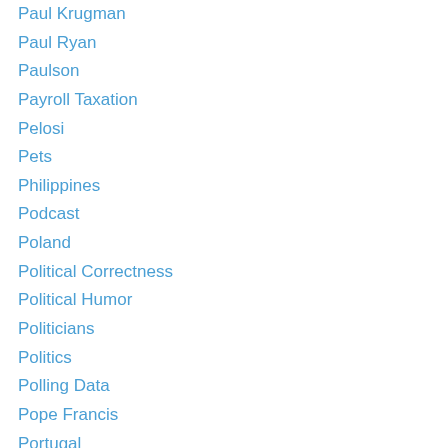Paul Krugman
Paul Ryan
Paulson
Payroll Taxation
Pelosi
Pets
Philippines
Podcast
Poland
Political Correctness
Political Humor
Politicians
Politics
Polling Data
Pope Francis
Portugal
Postal Service
Poverty
Price Controls
Privacy